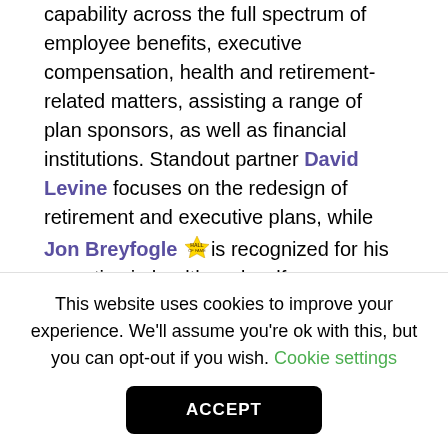capability across the full spectrum of employee benefits, executive compensation, health and retirement-related matters, assisting a range of plan sponsors, as well as financial institutions. Standout partner David Levine focuses on the redesign of retirement and executive plans, while Jon Breyfogle [hall of fame icon] is recognized for his expertise in health and welfare mandates. Elsewhere, Jennifer Eller advises corporate and public plan sponsors on all aspects of ERISA fiduciary compliance, and Brigen Winters specializes in legislative policy issues, while Michael Kreps advises both private and public sector clients on retirement and health matters. Mark Lofgren handles tax-qualified retirement plan arrangements, while
This website uses cookies to improve your experience. We'll assume you're ok with this, but you can opt-out if you wish. Cookie settings
ACCEPT